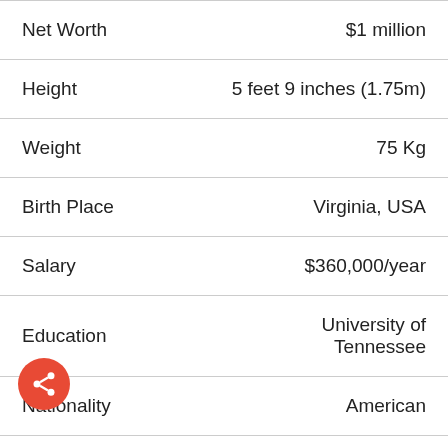| Field | Value |
| --- | --- |
| Net Worth | $1 million |
| Height | 5 feet 9 inches (1.75m) |
| Weight | 75 Kg |
| Birth Place | Virginia, USA |
| Salary | $360,000/year |
| Education | University of Tennessee |
| Nationality | American |
| Profession | Basketball player |